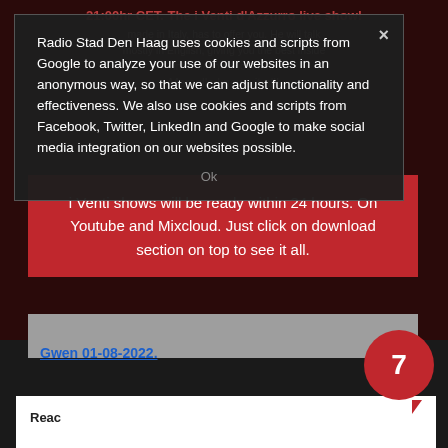21:00hr CET. The i Venti d'Azzurro live show!
Radio Stad Den Haag uses cookies and scripts from Google to analyze your use of our websites in an anonymous way, so that we can adjust functionality and effectiveness. We also use cookies and scripts from Facebook, Twitter, LinkedIn and Google to make social media integration on our websites possible.
i Venti shows will be ready within 24 hours. On Youtube and Mixcloud. Just click on download section on top to see it all.
Marcello knows it all!
Gwen 01-08-2022.
[Figure (other): Red speech bubble with number 7]